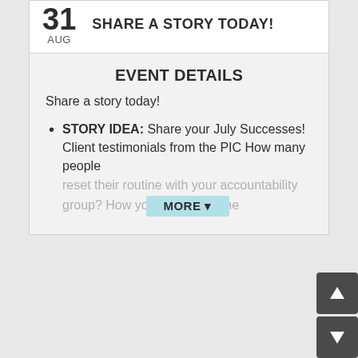31 AUG
SHARE A STORY TODAY!
EVENT DETAILS
Share a story today!
STORY IDEA: Share your July Successes! Client testimonials from the PIC How many people reset their routine with your accountability group? How you... because of the
MORE ▼